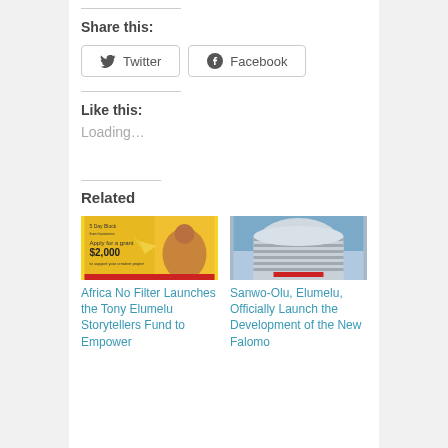Share this:
Twitter
Facebook
Like this:
Loading...
Related
[Figure (photo): Africa No Filter - Tony Elumelu Storytellers Fund promotional image showing a woman with a megaphone and text 'Apply for a grant $2,000 to support your creative project']
Africa No Filter Launches the Tony Elumelu Storytellers Fund to Empower
[Figure (photo): Photograph of a modern curved multi-storey building with horizontal bands - the New Eko Atlantic development]
Sanwo-Olu, Elumelu, Officially Launch the Development of the New Falomo